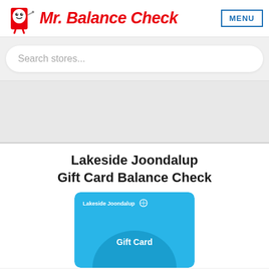[Figure (logo): Mr. Balance Check logo with red cartoon character and red italic bold text]
MENU
Search stores...
Lakeside Joondalup Gift Card Balance Check
[Figure (photo): Lakeside Joondalup light blue gift card with 'Gift Card' text and circular arch design]